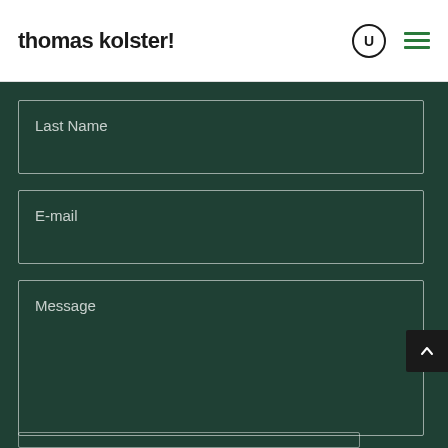thomas kolster!
Last Name
E-mail
Message